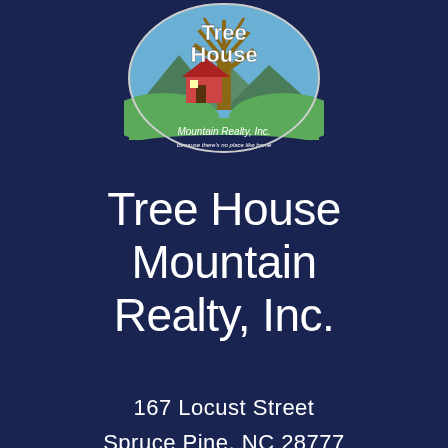[Figure (logo): Tree House Mountain Realty, Inc. circular logo with tree, mountain, and house illustration on blue/green background]
Tree House Mountain Realty, Inc.
167 Locust Street
Spruce Pine, NC 28777
(828)765-1655